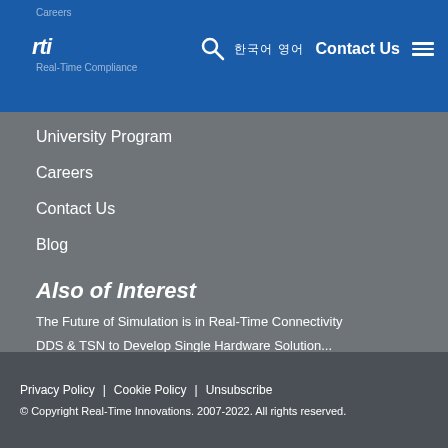Careers | rti | 한국어 영어 Contact Us ☰
University Program
Careers
Contact Us
Blog
Also of Interest
The Future of Simulation is in Real-Time Connectivity
DDS & TSN to Develop Single Hardware Solution...
DDS and TSN: Where Software and Hardware Meet...
Privacy Policy | Cookie Policy | Unsubscribe
© Copyright Real-Time Innovations. 2007-2022. All rights reserved.